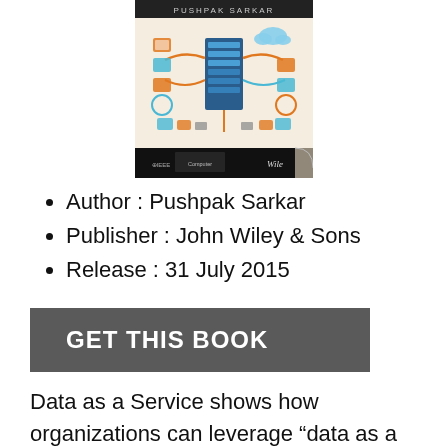[Figure (illustration): Book cover for 'Data as a Service' by Pushpak Sarkar, published by IEEE/Wiley, showing a colorful tech/cloud/data illustration with servers and connected icons, with IEEE and Wiley logos at the bottom.]
Author : Pushpak Sarkar
Publisher : John Wiley & Sons
Release : 31 July 2015
GET THIS BOOK
Data as a Service shows how organizations can leverage “data as a service” by providing real-life case studies on the various and innovative architectures and related patterns Comprehensive approach to introducing data as a service in any organization A reusable and flexible SOA